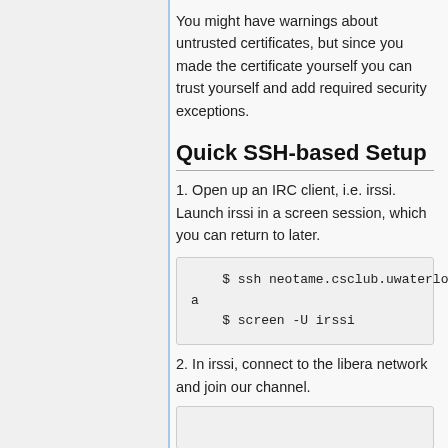You might have warnings about untrusted certificates, but since you made the certificate yourself you can trust yourself and add required security exceptions.
Quick SSH-based Setup
1. Open up an IRC client, i.e. irssi. Launch irssi in a screen session, which you can return to later.
$ ssh neotame.csclub.uwaterloo.ca
 $ screen -U irssi
2. In irssi, connect to the libera network and join our channel.